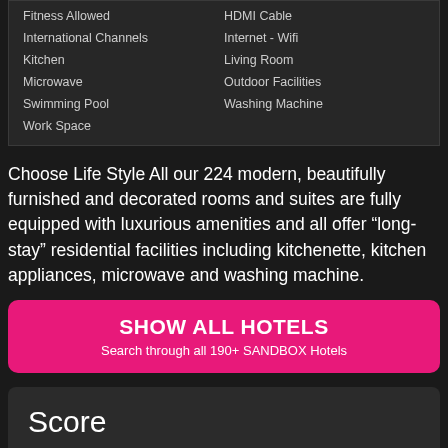| Fitness Allowed | HDMI Cable |
| International Channels | Internet - Wifi |
| Kitchen | Living Room |
| Microwave | Outdoor Facilities |
| Swimming Pool | Washing Machine |
| Work Space |  |
Choose Life Style All our 224 modern, beautifully furnished and decorated rooms and suites are fully equipped with luxurious amenities and all offer “long-stay” residential facilities including kitchenette, kitchen appliances, microwave and washing machine.
SHOW ALL HOTELS
Search through all 190+ SANDBOX Hotels
Score